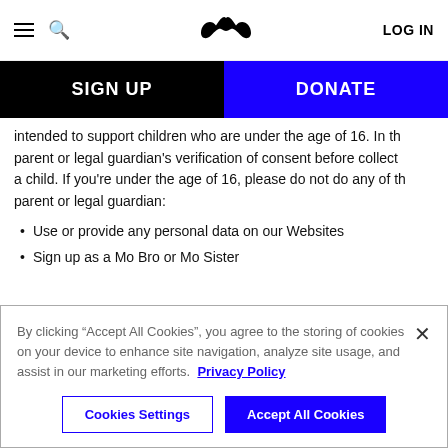≡ 🔍 [Movember logo] LOG IN
SIGN UP | DONATE
intended to support children who are under the age of 16. In the parent or legal guardian's verification of consent before collecting a child. If you're under the age of 16, please do not do any of the parent or legal guardian:
Use or provide any personal data on our Websites
Sign up as a Mo Bro or Mo Sister
By clicking "Accept All Cookies", you agree to the storing of cookies on your device to enhance site navigation, analyze site usage, and assist in our marketing efforts. Privacy Policy
Cookies Settings | Accept All Cookies